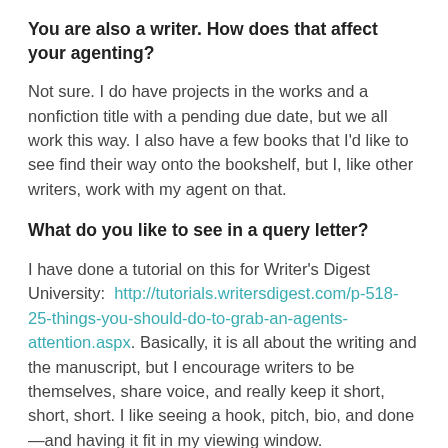You are also a writer. How does that affect your agenting?
Not sure. I do have projects in the works and a nonfiction title with a pending due date, but we all work this way. I also have a few books that I'd like to see find their way onto the bookshelf, but I, like other writers, work with my agent on that.
What do you like to see in a query letter?
I have done a tutorial on this for Writer's Digest University:  http://tutorials.writersdigest.com/p-518-25-things-you-should-do-to-grab-an-agents-attention.aspx. Basically, it is all about the writing and the manuscript, but I encourage writers to be themselves, share voice, and really keep it short, short, short. I like seeing a hook, pitch, bio, and done—and having it fit in my viewing window.